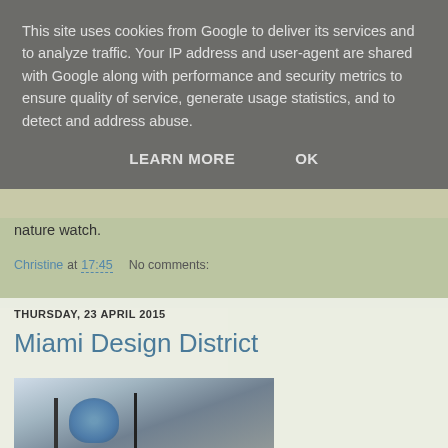This site uses cookies from Google to deliver its services and to analyze traffic. Your IP address and user-agent are shared with Google along with performance and security metrics to ensure quality of service, generate usage statistics, and to detect and address abuse.
LEARN MORE    OK
nature watch.
Christine at 17:45    No comments:
THURSDAY, 23 APRIL 2015
Miami Design District
[Figure (photo): Photo of a building in the Miami Design District with a large blue skull art installation visible, taken against a partly cloudy sky]